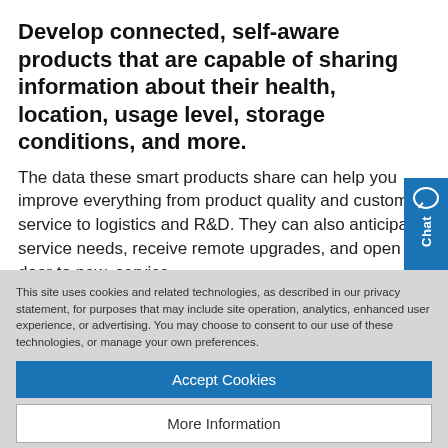Develop connected, self-aware products that are capable of sharing information about their health, location, usage level, storage conditions, and more.
The data these smart products share can help you improve everything from product quality and customer service to logistics and R&D. They can also anticipate service needs, receive remote upgrades, and open the door to new, service-
[Figure (other): Blue chat widget button on the right side with a speech bubble icon and 'Chat' label written vertically]
This site uses cookies and related technologies, as described in our privacy statement, for purposes that may include site operation, analytics, enhanced user experience, or advertising. You may choose to consent to our use of these technologies, or manage your own preferences.
Accept Cookies
More Information
Privacy Policy | Powered by: TrustArc